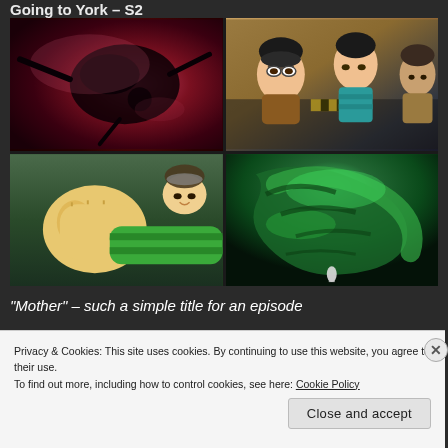Going to York – S2
[Figure (photo): Four-panel anime screenshot grid: top-left shows dark silhouette figure against red background; top-right shows three anime characters (two young, one older) in cockpit/interior scene with teal and green outfits; bottom-left shows anime girl in green and white striped outfit reaching out; bottom-right shows glowing green alien creature/tunnel scene]
“Mother” – such a simple title for an episode
Privacy & Cookies: This site uses cookies. By continuing to use this website, you agree to their use.
To find out more, including how to control cookies, see here: Cookie Policy
Close and accept